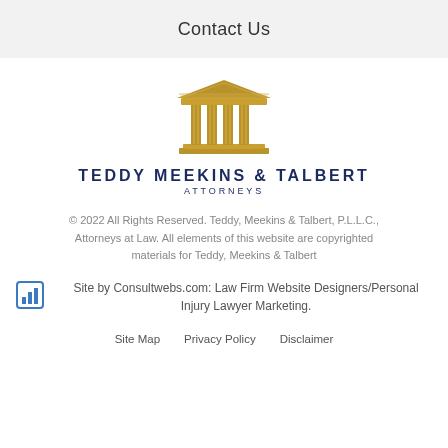Contact Us
[Figure (logo): Teddy Meekins & Talbert law firm logo — gold classical columns/pillar building above firm name]
TEDDY MEEKINS & TALBERT ATTORNEYS
© 2022 All Rights Reserved. Teddy, Meekins & Talbert, P.L.L.C., Attorneys at Law. All elements of this website are copyrighted materials for Teddy, Meekins & Talbert
Site by Consultwebs.com: Law Firm Website Designers/Personal Injury Lawyer Marketing.
Site Map    Privacy Policy    Disclaimer